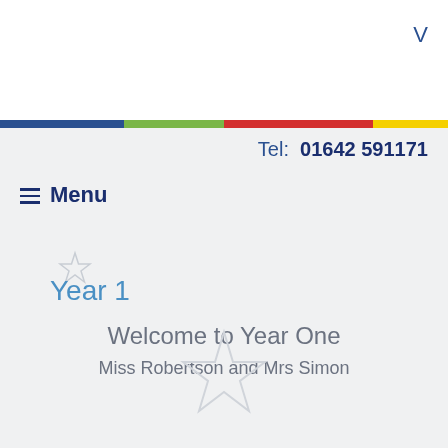V
Tel: 01642 591171
≡ Menu
Year 1
Welcome to Year One
Miss Robertson and Mrs Simon